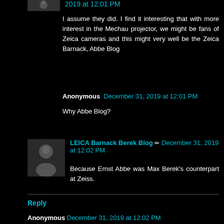2019 at 12:01 PM
I assume they did. I find it interesting that with more interest in the Mechau projector, we might be fans of Zeica cameras and this might very well be the Zeica Barnack, Abbe Blog
Anonymous December 31, 2019 at 12:01 PM
Why Abbe Blog?
[Figure (photo): Small avatar photo of a person]
LEICA Barnack Berek Blog ✏ December 31, 2019 at 12:02 PM
Because Ernst Abbe was Max Berek's counterpart at Zeiss.
Reply
Anonymous December 31, 2019 at 12:02 PM